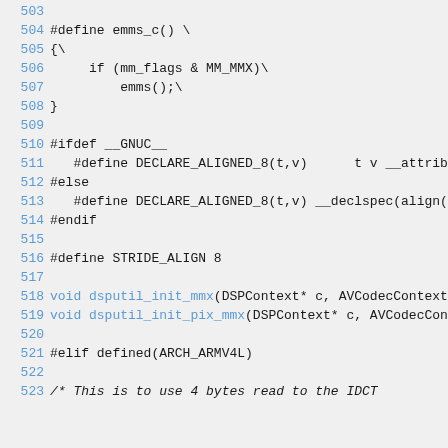Source code listing lines 503-523, C preprocessor macros and function declarations
[Figure (screenshot): Code listing showing C preprocessor macros including emms_c(), DECLARE_ALIGNED_8, STRIDE_ALIGN, and function declarations dsputil_init_mmx and dsputil_init_pix_mmx, with an ARCH_ARMV4L conditional and a comment about 4 bytes read to the IDCT]